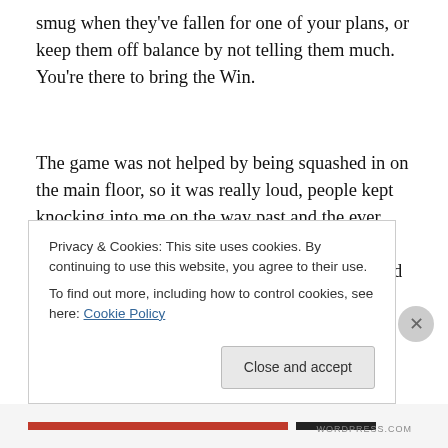smug when they've fallen for one of your plans, or keep them off balance by not telling them much. You're there to bring the Win.
The game was not helped by being squashed in on the main floor, so it was really loud, people kept knocking into me on the way past and the ever insistent tanoy got really tired. Given that there were spare tables up stairs, and how spacious and much nicer it was downstairs. I'd like to
Privacy & Cookies: This site uses cookies. By continuing to use this website, you agree to their use.
To find out more, including how to control cookies, see here: Cookie Policy
Close and accept